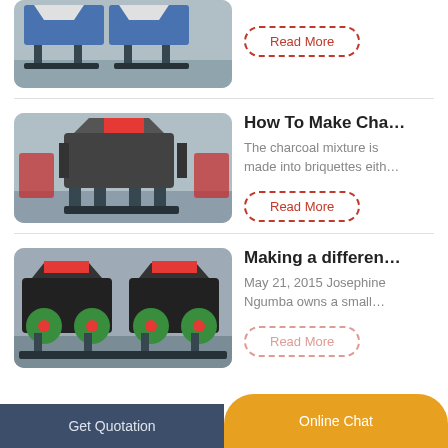[Figure (photo): Industrial machine (top partial view) in a factory setting, blue and white vibratory/conveyor equipment]
Read More
[Figure (photo): Large dark grey industrial crusher/shredder machine on metal frame legs in a factory warehouse]
How To Make Cha…
The charcoal mixture is made into briquettes eith…
Read More
[Figure (photo): Two industrial roller/crusher machines with red and green components on black metal frames in a factory]
Making a differen…
May 21, 2015 Josephine Ngumba owns a small…
Read More
Get Quotation    Online Chat